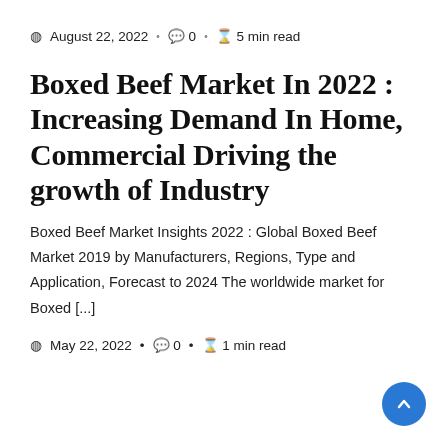August 22, 2022 · 0 · 5 min read
Boxed Beef Market In 2022 : Increasing Demand In Home, Commercial Driving the growth of Industry
Boxed Beef Market Insights 2022 : Global Boxed Beef Market 2019 by Manufacturers, Regions, Type and Application, Forecast to 2024 The worldwide market for Boxed [...]
May 22, 2022 · 0 · 1 min read